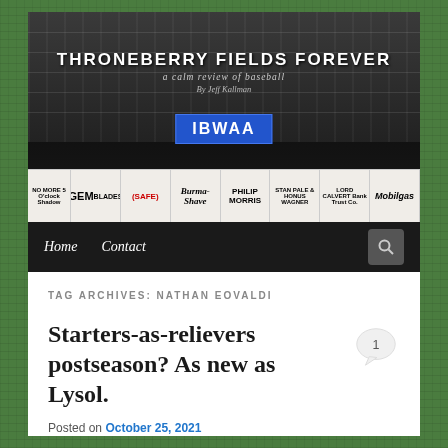[Figure (screenshot): Website header banner for 'Throneberry Fields Forever' baseball blog, showing a vintage black-and-white baseball stadium image with site title, subtitle 'a calm review of baseball', attribution 'By Jeff Kallman', IBWAA badge, and vintage baseball advertisement strips including GEM Blades, Burma Shave, Philip Morris, Mobilgas and others.]
THRONEBERRY FIELDS FOREVER
a calm review of baseball
By Jeff Kallman
IBWAA
TAG ARCHIVES: NATHAN EOVALDI
Starters-as-relievers postseason? As new as Lysol.
Posted on October 25, 2021